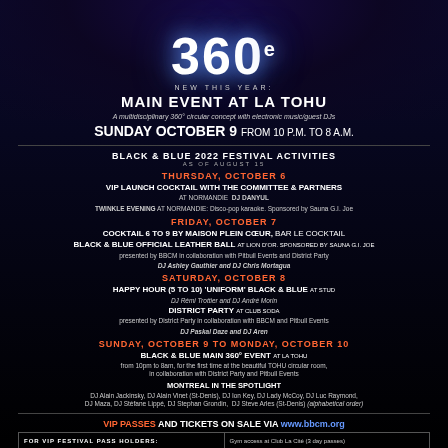360°
NEW THIS YEAR:
MAIN EVENT AT LA TOHU
A multidisciplinary 360° circular concept with electronic music/guest DJs
SUNDAY OCTOBER 9 from 10 p.m. to 8 a.m.
BLACK & BLUE 2022 FESTIVAL ACTIVITIES
AS OF AUGUST 15
THURSDAY, OCTOBER 6
VIP LAUNCH COCKTAIL with the COMMITTEE & PARTNERS AT NORMANDIE  DJ DANYUL
TWINKLE EVENING AT NORMANDIE: Disco-pop karaoke. Sponsored by Sauna G.I. Joe
FRIDAY, OCTOBER 7
COCKTAIL 6 to 9 BY MAISON PLEIN CŒUR, BAR LE COCKTAIL
BLACK & BLUE OFFICIAL LEATHER BALL at LION D'OR. Sponsored by Sauna G.I. Joe presented by BBCM in collaboration with Pitbull Events and District Party
DJ Ashley Gauthier and DJ Chris Mortagua
SATURDAY, OCTOBER 8
HAPPY HOUR (5 to 10) 'UNIFORM' BLACK & BLUE at STUD
DJ Rémi Trottier and DJ André Morin
DISTRICT PARTY at CLUB SODA
presented by District Party in collaboration with BBCM and Pitbull Events
DJ Paskal Daze and DJ Aren
SUNDAY, OCTOBER 9 TO MONDAY, OCTOBER 10
BLACK & BLUE Main 360° event at LA TOHU
from 10pm to 8am, for the first time at the beautiful TOHU circular room,
in collaboration with District Party and Pitbull Events
MONTREAL IN THE SPOTLIGHT
DJ Alain Jackinsky, DJ Alain Vinet (St-Denis), DJ Ion Key, DJ Lady McCoy, DJ Luc Raymond, DJ Maza, DJ Stéfane Lippé, DJ Stephan Grondin, DJ Steve Arles (St-Denis) (alphabetical order)
VIP PASSES AND TICKETS ON SALE VIA www.bbcm.org
FOR VIP FESTIVAL PASS HOLDERS:
Free checkroom at La Tohu and access to the VIP area with snacks & fruits
Meal coupon valid at the Saloon, the official restaurant of the Black & Blue in the Gay Village (valid October 8 or 9)
Gym access at Club La Cité (3 day passes)
Black & Blue 2022 souvenir T-shirt and Carnival of Colors 2022 souvenir T-shirt
Free access to the McCord Museum
Some other benefits such as sauna passes, etc.